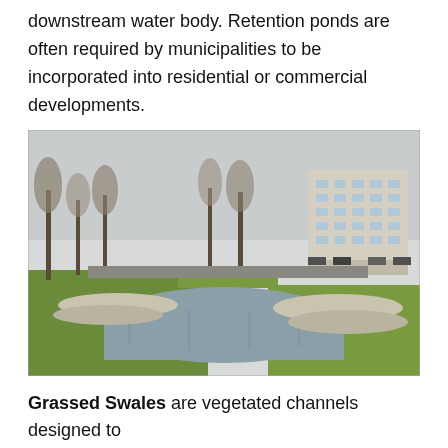downstream water body. Retention ponds are often required by municipalities to be incorporated into residential or commercial developments.
[Figure (photo): Photograph of a grassed swale / retention pond area with a water channel flanked by gravel edges and grass, with bare trees and a multi-story building visible in the background.]
Grassed Swales are vegetated channels designed to